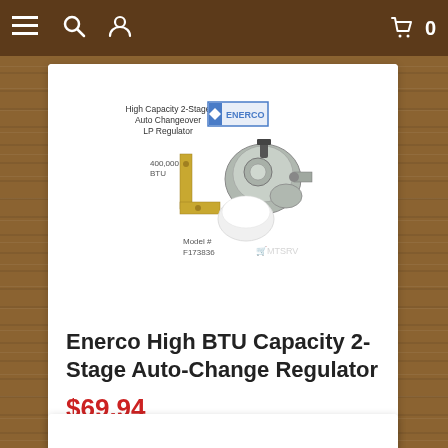Navigation bar with menu, search, user icons and shopping cart (0 items)
[Figure (photo): Enerco High Capacity 2-Stage Auto Changeover LP Regulator product photo showing the regulator unit, mounting bracket, and components. Text on image: 'High Capacity 2-Stage Auto Changeover LP Regulator', '400,000 BTU', 'Model # F173836', ENERCO logo, MTSRV watermark.]
Enerco High BTU Capacity 2-Stage Auto-Change Regulator
$69.94
★★★★★ (empty stars, no rating)